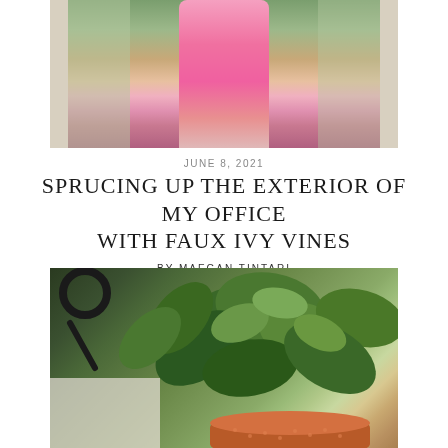[Figure (photo): Woman in pink floral dress standing in a glass doorway, with greenery visible in background]
JUNE 8, 2021
SPRUCING UP THE EXTERIOR OF MY OFFICE WITH FAUX IVY VINES
BY MAEGAN TINTARI
[Figure (photo): Close-up of green leafy plant (pothos/philodendron) in a copper/bronze pot, with a dark scissors shape visible on the left]